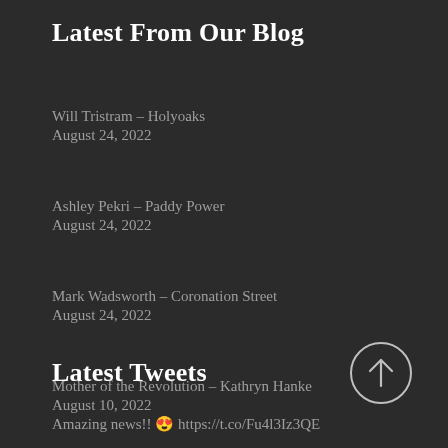Latest From Our Blog
Will Tristram – Holyoaks
August 24, 2022
Ashley Pekri – Paddy Power
August 24, 2022
Mark Wadsworth – Coronation Street
August 24, 2022
Mother of the Revolution – Kathryn Hanke
August 10, 2022
[Figure (illustration): Circular scroll-to-top button with upward arrow icon]
Latest Tweets
Amazing news!! 😍 https://t.co/Fu4l3Iz3QE